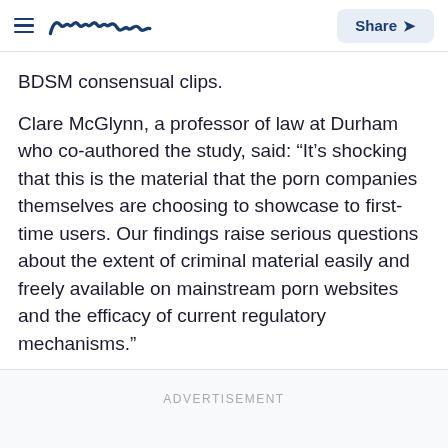Meaww | Share
BDSM consensual clips.
Clare McGlynn, a professor of law at Durham who co-authored the study, said: “It’s shocking that this is the material that the porn companies themselves are choosing to showcase to first-time users. Our findings raise serious questions about the extent of criminal material easily and freely available on mainstream porn websites and the efficacy of current regulatory mechanisms.”
ADVERTISEMENT